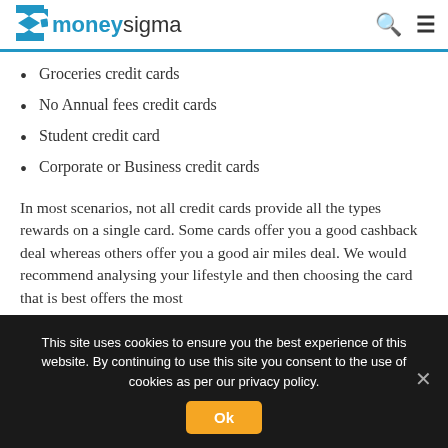moneysigma
Groceries credit cards
No Annual fees credit cards
Student credit card
Corporate or Business credit cards
In most scenarios, not all credit cards provide all the types rewards on a single card. Some cards offer you a good cashback deal whereas others offer you a good air miles deal. We would recommend analysing your lifestyle and then choosing the card that is best offers the most
This site uses cookies to ensure you the best experience of this website. By continuing to use this site you consent to the use of cookies as per our privacy policy.